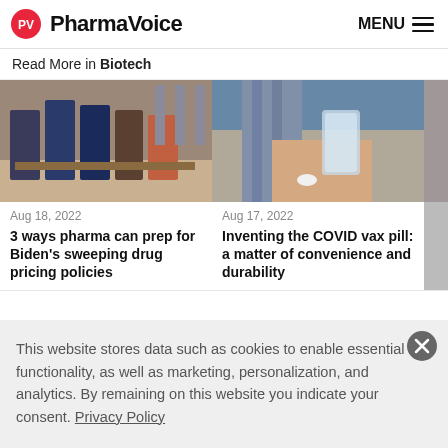PharmaVoice | MENU
Read More in Biotech
[Figure (photo): Group of people at a signing ceremony with American flags in background]
Aug 18, 2022
3 ways pharma can prep for Biden's sweeping drug pricing policies
[Figure (photo): Person holding a glass of water and a pill in their hand]
Aug 17, 2022
Inventing the COVID vax pill: a matter of convenience and durability
This website stores data such as cookies to enable essential site functionality, as well as marketing, personalization, and analytics. By remaining on this website you indicate your consent. Privacy Policy